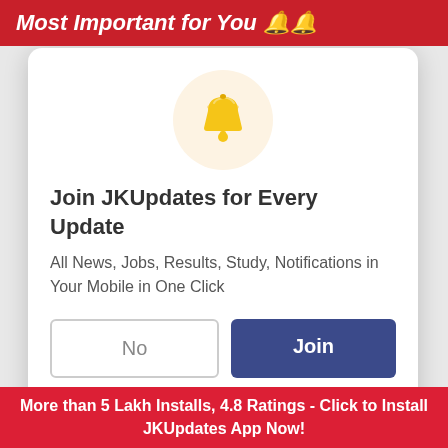Most Important for You 🔔🔔
[Figure (illustration): Yellow notification bell icon centered in a pale beige/cream circle]
Join JKUpdates for Every Update
All News, Jobs, Results, Study, Notifications in Your Mobile in One Click
No   Join (buttons)
Powered by Feedify
Private Jobs/ School & College Jobs/ Contractual Jobs
More than 5 Lakh Installs, 4.8 Ratings - Click to Install JKUpdates App Now!